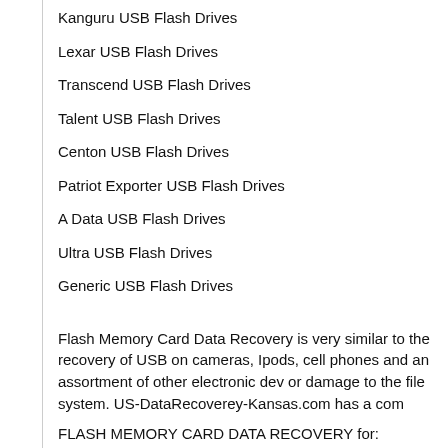Kanguru USB Flash Drives
Lexar USB Flash Drives
Transcend USB Flash Drives
Talent USB Flash Drives
Centon USB Flash Drives
Patriot Exporter USB Flash Drives
A Data USB Flash Drives
Ultra USB Flash Drives
Generic USB Flash Drives
Flash Memory Card Data Recovery is very similar to the recovery of USB on cameras, Ipods, cell phones and an assortment of other electronic dev or damage to the file system. US-DataRecoverey-Kansas.com has a com
FLASH MEMORY CARD DATA RECOVERY for:
CompactFlash Type I (CF-I)
CompactFlash Type II (CF-II)